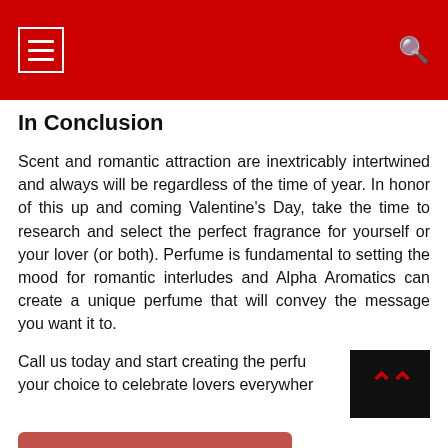Navigation menu and search icon on red header bar
In Conclusion
Scent and romantic attraction are inextricably intertwined and always will be regardless of the time of year. In honor of this up and coming Valentine’s Day, take the time to research and select the perfect fragrance for yourself or your lover (or both). Perfume is fundamental to setting the mood for romantic interludes and Alpha Aromatics can create a unique perfume that will convey the message you want it to.
Call us today and start creating the perfu... your choice to celebrate lovers everywher...
Click Here To See More →